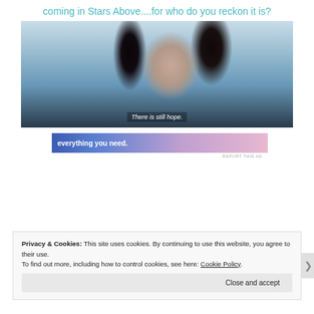coming in Stars Above....for who do you reckon it is?
[Figure (photo): A dark-haired woman looking at the camera in a blue-tinted scene. Subtitle text reads: There is still hope.]
[Figure (infographic): Advertisement banner reading 'everything you need.' with gradient blue-to-pink background]
REPORT THIS AD
Privacy & Cookies: This site uses cookies. By continuing to use this website, you agree to their use.
To find out more, including how to control cookies, see here: Cookie Policy
Close and accept